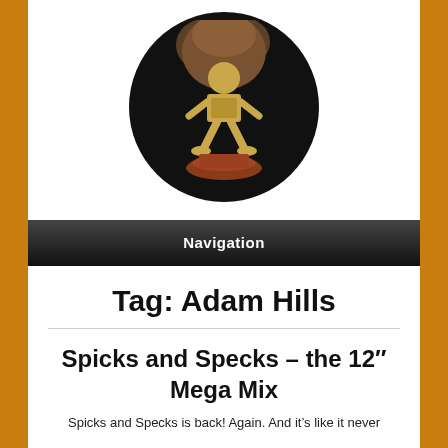[Figure (photo): A gold trophy figurine of a person with a large afro-style hair, holding a box, standing on a brown circular base, photographed against a black circular background.]
Navigation
Tag: Adam Hills
Spicks and Specks – the 12″ Mega Mix
Spicks and Specks is back! Again. And it's like it never